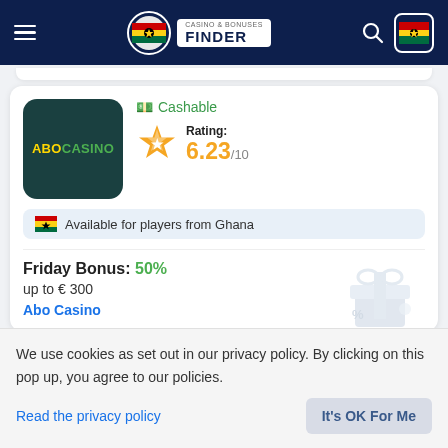CASINO & BONUSES FINDER
[Figure (logo): AboCasino logo: dark teal square with ABOCASINO text in yellow/green]
Cashable
Rating: 6.23/10
Available for players from Ghana
Friday Bonus: 50% up to € 300
Abo Casino
We use cookies as set out in our privacy policy. By clicking on this pop up, you agree to our policies.
Read the privacy policy
It's OK For Me